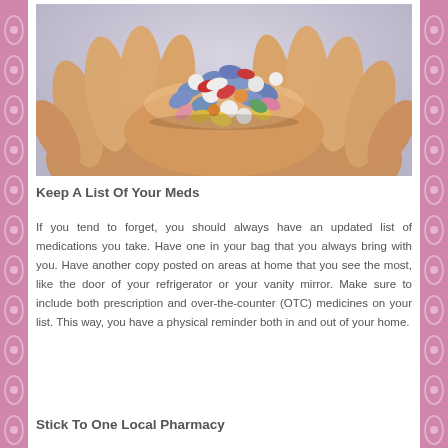[Figure (photo): Elderly hands cupped together holding a large pile of colorful pills and tablets of various shapes and sizes]
Keep A List Of Your Meds
If you tend to forget, you should always have an updated list of medications you take. Have one in your bag that you always bring with you. Have another copy posted on areas at home that you see the most, like the door of your refrigerator or your vanity mirror. Make sure to include both prescription and over-the-counter (OTC) medicines on your list. This way, you have a physical reminder both in and out of your home.
Stick To One Local Pharmacy